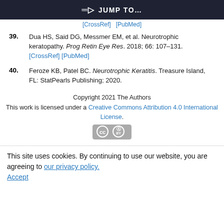JUMP TO…
[CrossRef] [PubMed] (previous reference line, partially visible)
39. Dua HS, Said DG, Messmer EM, et al. Neurotrophic keratopathy. Prog Retin Eye Res. 2018; 66: 107–131. [CrossRef] [PubMed]
40. Feroze KB, Patel BC. Neurotrophic Keratitis. Treasure Island, FL: StatPearls Publishing; 2020.
Copyright 2021 The Authors
This work is licensed under a Creative Commons Attribution 4.0 International License.
[Figure (logo): Creative Commons BY license badge showing CC and BY icons in a grey rounded rectangle]
This site uses cookies. By continuing to use our website, you are agreeing to our privacy policy. Accept